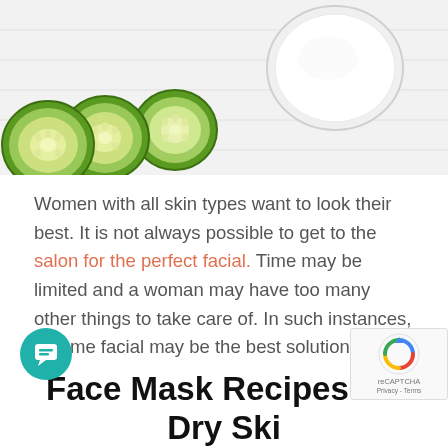[Figure (photo): Photo of cucumber slices and a white cream jar on a white wooden surface background]
Women with all skin types want to look their best. It is not always possible to get to the salon for the perfect facial. Time may be limited and a woman may have too many other things to take care of. In such instances, a home facial may be the best solution. There are literally hundreds of recipes for home facials. But every recipe will not be suitable for all skin types.
Face Mask Recipes for Dry Ski...